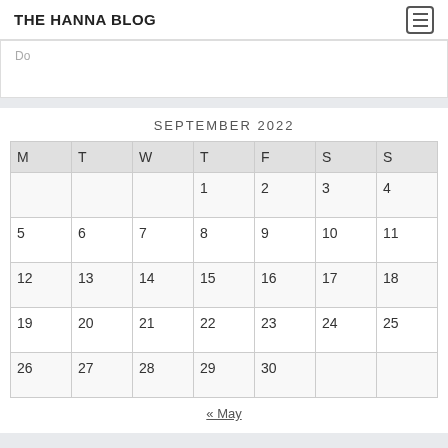THE HANNA BLOG
Do
| M | T | W | T | F | S | S |
| --- | --- | --- | --- | --- | --- | --- |
|  |  |  | 1 | 2 | 3 | 4 |
| 5 | 6 | 7 | 8 | 9 | 10 | 11 |
| 12 | 13 | 14 | 15 | 16 | 17 | 18 |
| 19 | 20 | 21 | 22 | 23 | 24 | 25 |
| 26 | 27 | 28 | 29 | 30 |  |  |
« May